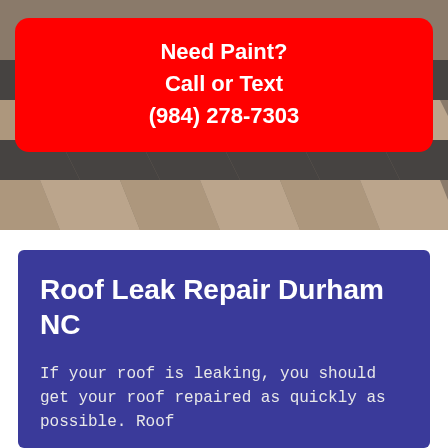[Figure (photo): Close-up photo of roof shingles with brown and dark grey asphalt shingles in a diagonal pattern]
Need Paint?
Call or Text
(984) 278-7303
Roof Leak Repair Durham NC
If your roof is leaking, you should get your roof repaired as quickly as possible. Roof